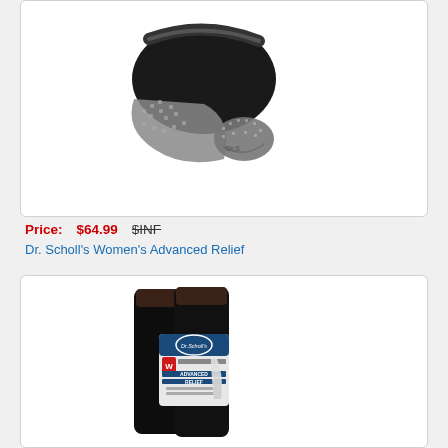[Figure (photo): Black Dr. Scholl's low-cut ankle socks with gray heel/toe padding, showing the pair from bottom/side angle on white background]
Price: $64.99   $INF
Dr. Scholl's Women's Advanced Relief
[Figure (photo): Dr. Scholl's Women's Advanced Relief knee-high compression socks in black, shown in original packaging with blue and gray label]